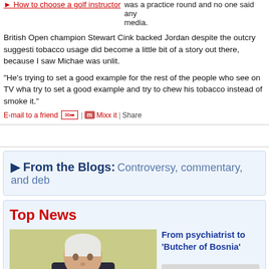How to choose a golf instructor  was a practice round and no one said any media.
British Open champion Stewart Cink backed Jordan despite the outcry suggesti tobacco usage did become a little bit of a story out there, because I saw Michae was unlit.
"He's trying to set a good example for the rest of the people who see on TV wha try to set a good example and try to chew his tobacco instead of smoke it."
E-mail to a friend | Mixx it | Share
From the Blogs: Controversy, commentary, and deb
Top News
From psychiatrist to 'Butcher of Bosnia'
[Figure (photo): Man in suit sitting at desk in courtroom or formal setting]
[Figure (other): No Image placeholder box]